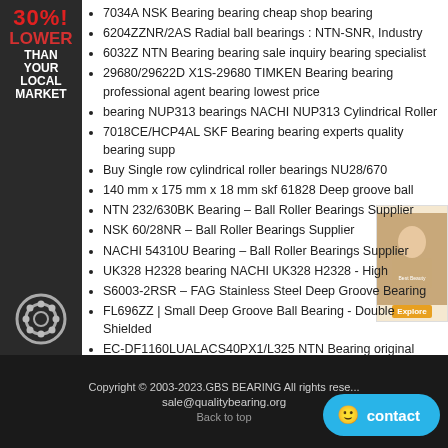[Figure (infographic): Side banner with '30% LOWER THAN YOUR LOCAL MARKET' text in red/white on dark background, with a bearing icon at bottom]
7034A NSK Bearing bearing cheap shop bearing
6204ZZNR/2AS Radial ball bearings : NTN-SNR, Industry
6032Z NTN Bearing bearing sale inquiry bearing specialist
29680/29622D X1S-29680 TIMKEN Bearing bearing professional agent bearing lowest price
[Figure (photo): Small advertisement photo showing a person with text overlay]
bearing NUP313 bearings NACHI NUP313 Cylindrical Roller
7018CE/HCP4AL SKF Bearing bearing experts quality bearing supp
Buy Single row cylindrical roller bearings NU28/670
140 mm x 175 mm x 18 mm skf 61828 Deep groove ball
NTN 232/630BK Bearing – Ball Roller Bearings Supplier
NSK 60/28NR – Ball Roller Bearings Supplier
NACHI 54310U Bearing – Ball Roller Bearings Supplier
UK328 H2328 bearing NACHI UK328 H2328 - High
S6003-2RSR – FAG Stainless Steel Deep Groove Bearing
FL696ZZ | Small Deep Groove Ball Bearing - Double Shielded
EC-DF1160LUALACS40PX1/L325 NTN Bearing original bearing distributor global bearing brand
Copyright © 2003-2023.GBS BEARING All rights rese... sale@qualitybearing.org Back to top